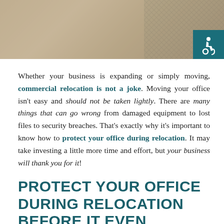[Figure (photo): A photo banner showing an office/workplace scene, partially obscured, with a teal accessibility (wheelchair) icon in the bottom-right corner of the image.]
Whether your business is expanding or simply moving, commercial relocation is not a joke. Moving your office isn't easy and should not be taken lightly. There are many things that can go wrong from damaged equipment to lost files to security breaches. That's exactly why it's important to know how to protect your office during relocation. It may take investing a little more time and effort, but your business will thank you for it!
PROTECT YOUR OFFICE DURING RELOCATION BEFORE IT EVEN STARTS